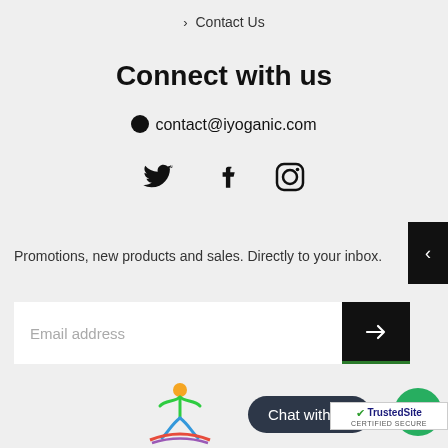> Contact Us
Connect with us
contact@iyoganic.com
[Figure (illustration): Social media icons: Twitter bird, Facebook f, Instagram camera outline]
Promotions, new products and sales. Directly to your inbox.
[Figure (screenshot): Email address input field with black submit arrow button]
[Figure (logo): iYoganic yoga figure logo in colorful green, orange, blue, red]
Chat with us
[Figure (logo): TrustedSite CERTIFIED SECURE badge]